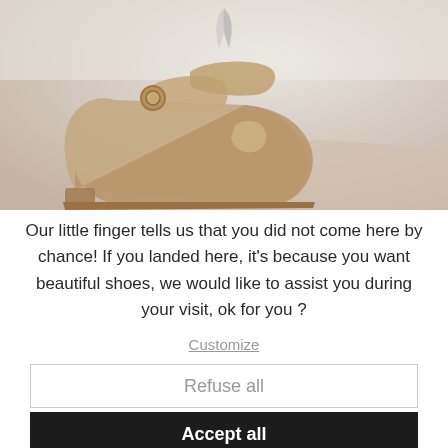[Figure (photo): Close-up photo of a beige/tan leather buckle shoe with ornate detailing, against a light neutral background. A small logo mark (stylized leaf or feather) appears at the top center of the image.]
Our little finger tells us that you did not come here by chance! If you landed here, it's because you want beautiful shoes, we would like to assist you during your visit, ok for you ?
Customize
Refuse all
Accept all